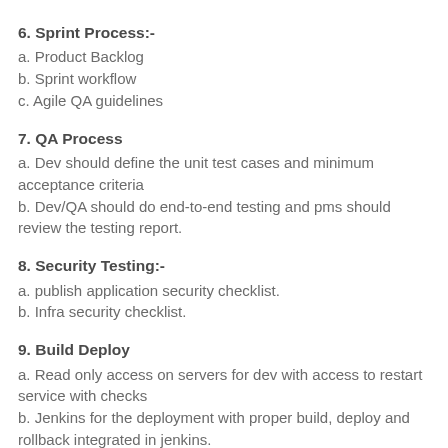6. Sprint Process:-
a. Product Backlog
b. Sprint workflow
c. Agile QA guidelines
7. QA Process
a. Dev should define the unit test cases and minimum acceptance criteria
b. Dev/QA should do end-to-end testing and pms should review the testing report.
8. Security Testing:-
a. publish application security checklist.
b. Infra security checklist.
9. Build Deploy
a. Read only access on servers for dev with access to restart service with checks
b. Jenkins for the deployment with proper build, deploy and rollback integrated in jenkins.